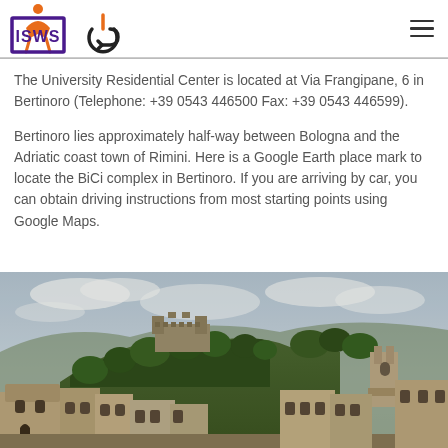[Figure (logo): ISWS logo with purple border box and orange figure icon above, alongside a power/login circular icon]
The University Residential Center is located at Via Frangipane, 6 in Bertinoro (Telephone: +39 0543 446500 Fax: +39 0543 446599).
Bertinoro lies approximately half-way between Bologna and the Adriatic coast town of Rimini. Here is a Google Earth place mark to locate the BiCi complex in Bertinoro. If you are arriving by car, you can obtain driving instructions from most starting points using Google Maps.
[Figure (photo): Panoramic photo of Bertinoro town showing hilltop fortress/castle surrounded by dense trees, with historic stone buildings in the foreground under a partly cloudy sky]